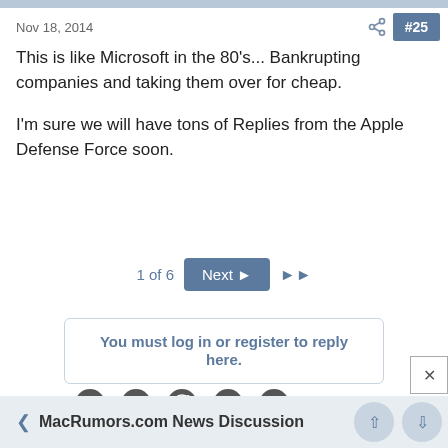Nov 18, 2014  #25
This is like Microsoft in the 80's... Bankrupting companies and taking them over for cheap.
I'm sure we will have tons of Replies from the Apple Defense Force soon.
1 of 6  Next  ▶▶
You must log in or register to reply here.
Share:
❮  MacRumors.com News Discussion